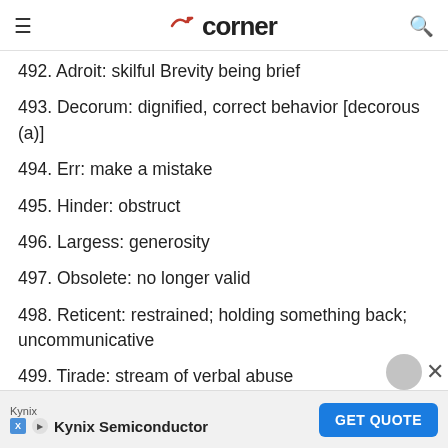corner
492. Adroit: skilful Brevity being brief
493. Decorum: dignified, correct behavior [decorous (a)]
494. Err: make a mistake
495. Hinder: obstruct
496. Largess: generosity
497. Obsolete: no longer valid
498. Reticent: restrained; holding something back; uncommunicative
499. Tirade: stream of verbal abuse
500. Adulation: strong admiration; worship
501. Bristle: to show irritation
Kynix Semiconductor GET QUOTE